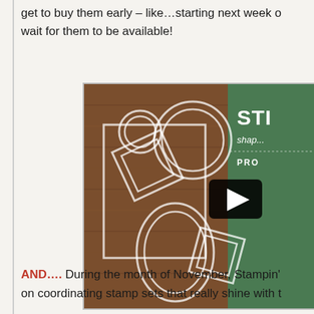get to buy them early – like…starting next week on wait for them to be available!
[Figure (screenshot): Product video thumbnail showing dies/frames (circles and squares) on a wood background, with a green panel on the right showing 'STE', 'shap...', 'PRO...' text, and a play button overlay in the center.]
AND….  During the month of November, Stampin' on coordinating stamp sets that really shine with t